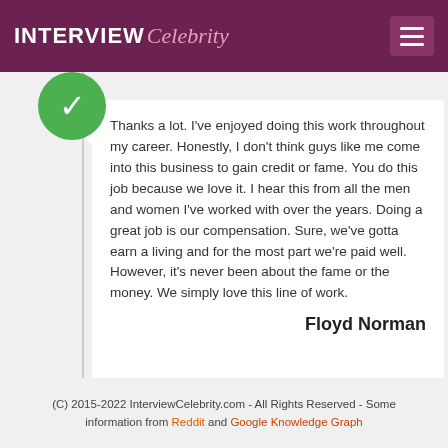INTERVIEW Celebrity
Thanks a lot. I've enjoyed doing this work throughout my career. Honestly, I don't think guys like me come into this business to gain credit or fame. You do this job because we love it. I hear this from all the men and women I've worked with over the years. Doing a great job is our compensation. Sure, we've gotta earn a living and for the most part we're paid well. However, it's never been about the fame or the money. We simply love this line of work.
Floyd Norman
(C) 2015-2022 InterviewCelebrity.com - All Rights Reserved - Some information from Reddit and Google Knowledge Graph